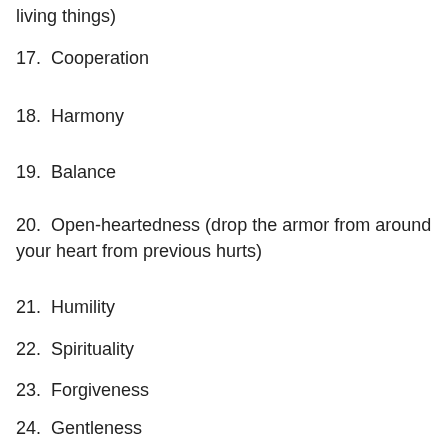living things)
17.  Cooperation
18.  Harmony
19.  Balance
20.  Open-heartedness (drop the armor from around your heart from previous hurts)
21.  Humility
22.  Spirituality
23.  Forgiveness
24.  Gentleness
25.  Self Control